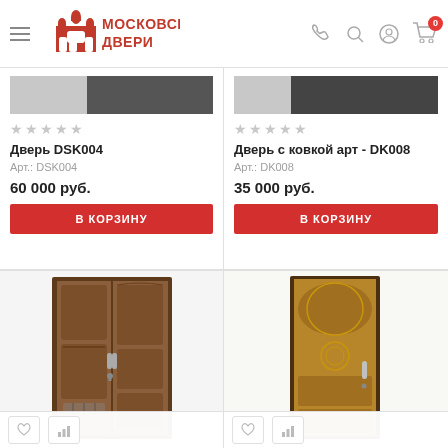Московские Двери — header navigation
★★★★★ Дверь DSK004 Арт.: DSK004 60 000 руб. В КОРЗИНУ
★★★★★ Дверь с ковкой арт - DK008 Арт.: DK008 35 000 руб. В КОРЗИНУ
[Figure (photo): Wooden double door with glass insert and iron grating, brown finish]
[Figure (photo): Single wooden door with decorative arch panel, golden brown finish]